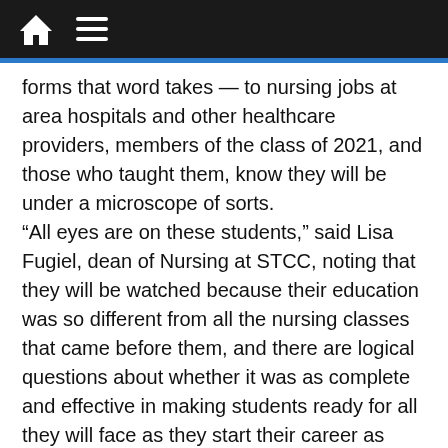Navigation bar with home and menu icons
forms that word takes — to nursing jobs at area hospitals and other healthcare providers, members of the class of 2021, and those who taught them, know they will be under a microscope of sorts.
“All eyes are on these students,” said Lisa Fugiel, dean of Nursing at STCC, noting that they will be watched because their education was so different from all the nursing classes that came before them, and there are logical questions about whether it was as complete and effective in making students ready for all they will face as they start their career as nurses.
“This group had one semester of normalcy, and the rest of their time was during this pandemic,” she went on. “Everyone will be looking at them; we’re looking at them — we want to see their success with the NCLEX